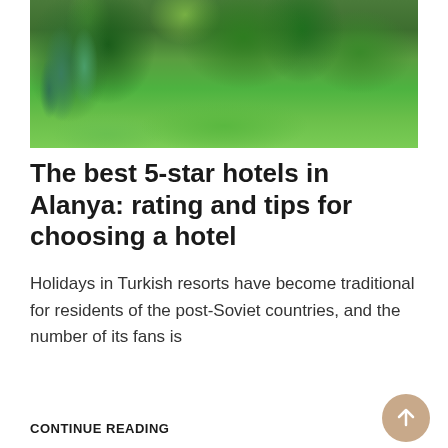[Figure (photo): Garden photo showing lush green plants, trimmed shrubs, and grass in a Turkish resort setting]
The best 5-star hotels in Alanya: rating and tips for choosing a hotel
Holidays in Turkish resorts have become traditional for residents of the post-Soviet countries, and the number of its fans is
CONTINUE READING